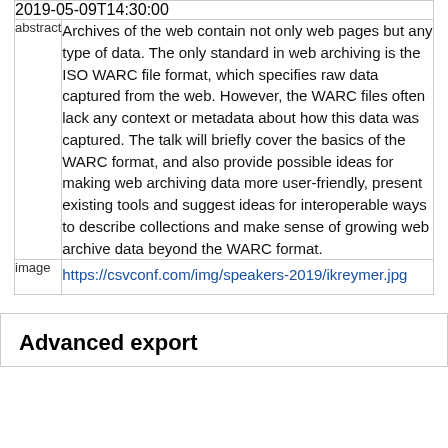| 2019-05-09T14:30:00 |
| abstract | Archives of the web contain not only web pages but any type of data. The only standard in web archiving is the ISO WARC file format, which specifies raw data captured from the web. However, the WARC files often lack any context or metadata about how this data was captured. The talk will briefly cover the basics of the WARC format, and also provide possible ideas for making web archiving data more user-friendly, present existing tools and suggest ideas for interoperable ways to describe collections and make sense of growing web archive data beyond the WARC format. |
| image | https://csvconf.com/img/speakers-2019/ikreymer.jpg |
Advanced export